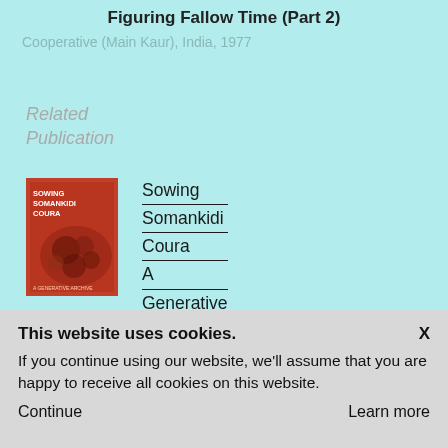Figuring Fallow Time (Part 2)
Cooperative (Main Kaur), India, 1977
Related Publication
[Figure (photo): Book cover of 'Sowing Somankidi Coura A Generative Archive' with red/orange background and imagery]
Sowing Somankidi Coura A Generative Archive
This website uses cookies.
If you continue using our website, we'll assume that you are happy to receive all cookies on this website.
Continue
Learn more